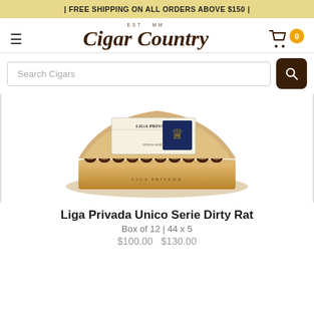| FREE SHIPPING ON ALL ORDERS ABOVE $150 |
[Figure (logo): Cigar Country logo with EST MM text above in small caps and cursive script below, hamburger menu icon on left, shopping cart with badge showing 0 on right]
[Figure (screenshot): Search bar with placeholder text 'Search Cigars' and dark brown search button with magnifying glass icon]
[Figure (photo): Open wooden cigar box labeled 'Liga Privada' containing a row of dark brown cigars. The box lid shows a navy blue and gold heraldic lion stamp.]
Liga Privada Unico Serie Dirty Rat
Box of 12 | 44 x 5
$100.00 - $130.00